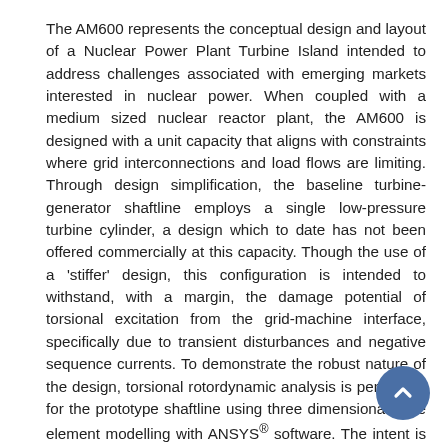The AM600 represents the conceptual design and layout of a Nuclear Power Plant Turbine Island intended to address challenges associated with emerging markets interested in nuclear power. When coupled with a medium sized nuclear reactor plant, the AM600 is designed with a unit capacity that aligns with constraints where grid interconnections and load flows are limiting. Through design simplification, the baseline turbine-generator shaftline employs a single low-pressure turbine cylinder, a design which to date has not been offered commercially at this capacity. Though the use of a 'stiffer' design, this configuration is intended to withstand, with a margin, the damage potential of torsional excitation from the grid-machine interface, specifically due to transient disturbances and negative sequence currents. To demonstrate the robust nature of the design, torsional rotordynamic analysis is performed for the prototype shaftline using three dimensional finite element modelling with ANSYS® software. The intent is to demonstrate large separation of the shaftline natural frequencies from the dominant frequencies for excitation. The analysis examined both welded drum and monoblock type Low Pressure Turbine rotors for single cylinder and double cylinder configurations. For each, the first seven (7) torsional natural frequencies (ranging from